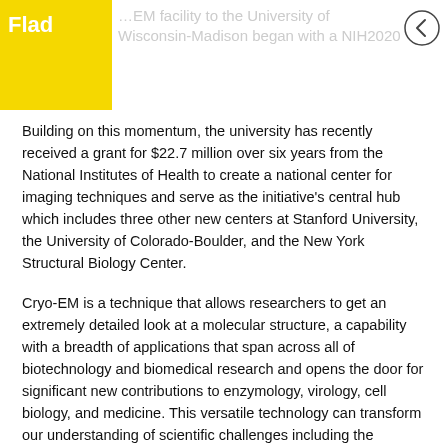Flad … EM facility to the University of Wisconsin-Madison began with a NIH2020 funding award
Building on this momentum, the university has recently received a grant for $22.7 million over six years from the National Institutes of Health to create a national center for imaging techniques and serve as the initiative's central hub which includes three other new centers at Stanford University, the University of Colorado-Boulder, and the New York Structural Biology Center.
Cryo-EM is a technique that allows researchers to get an extremely detailed look at a molecular structure, a capability with a breadth of applications that span across all of biotechnology and biomedical research and opens the door for significant new contributions to enzymology, virology, cell biology, and medicine. This versatile technology can transform our understanding of scientific challenges including the molecular basis for diseases, and the discovery and development of drug